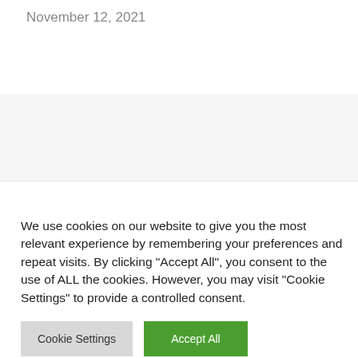November 12, 2021
We use cookies on our website to give you the most relevant experience by remembering your preferences and repeat visits. By clicking “Accept All”, you consent to the use of ALL the cookies. However, you may visit "Cookie Settings" to provide a controlled consent.